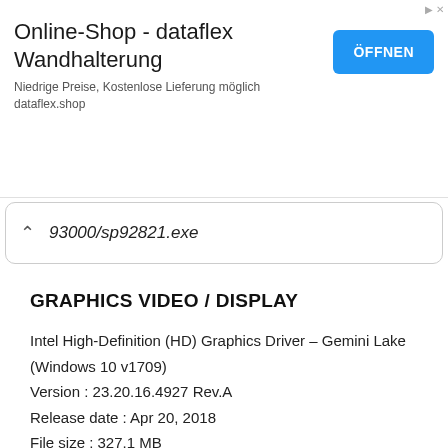[Figure (screenshot): Advertisement banner for 'Online-Shop - dataflex Wandhalterung' with blue ÖFFNEN button]
93000/sp92821.exe
GRAPHICS VIDEO / DISPLAY
Intel High-Definition (HD) Graphics Driver – Gemini Lake (Windows 10 v1709)
Version : 23.20.16.4927 Rev.A
Release date : Apr 20, 2018
File size : 327.1 MB
File name : sp86985.exe